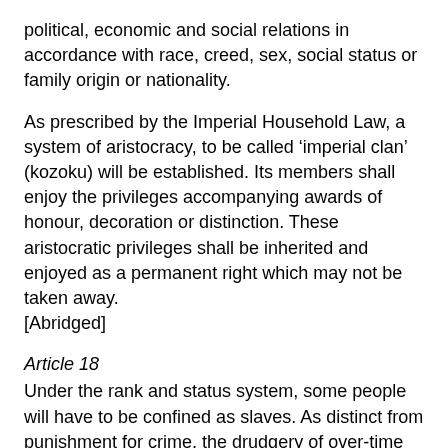political, economic and social relations in accordance with race, creed, sex, social status or family origin or nationality.
As prescribed by the Imperial Household Law, a system of aristocracy, to be called ‘imperial clan’ (kozoku) will be established. Its members shall enjoy the privileges accompanying awards of honour, decoration or distinction. These aristocratic privileges shall be inherited and enjoyed as a permanent right which may not be taken away. [Abridged]
Article 18
Under the rank and status system, some people will have to be confined as slaves. As distinct from punishment for crime, the drudgery of over-time work and commuting hell shall not be regarded as counter to anyone’s will.
Article 19
Freedom of thought and conscience shall be recognized within those limits determined by public officials. ‘